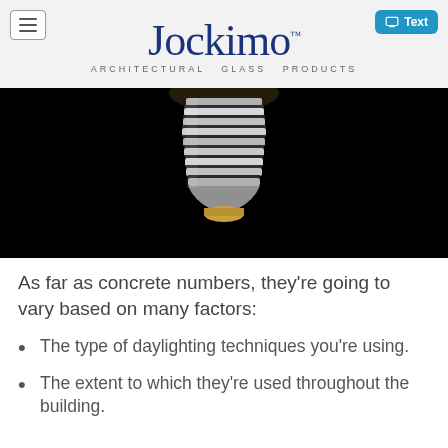Jockimo™ ARCHITECTURAL GLASS PRODUCTS
[Figure (photo): Close-up photo of a light bulb base/socket on a dark black background, showing metallic threading and bottom contact of the bulb.]
As far as concrete numbers, they're going to vary based on many factors:
The type of daylighting techniques you're using.
The extent to which they're used throughout the building.